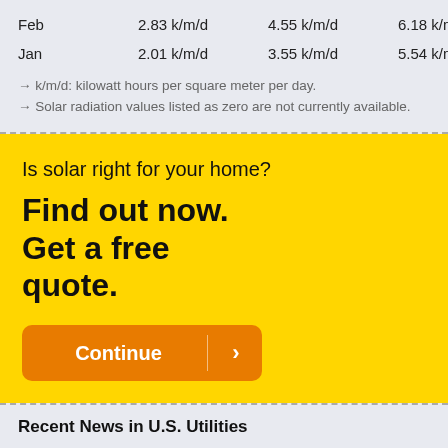| Month | Col1 | Col2 | Col3 |
| --- | --- | --- | --- |
| Feb | 2.83 k/m/d | 4.55 k/m/d | 6.18 k/m/d |
| Jan | 2.01 k/m/d | 3.55 k/m/d | 5.54 k/m/d |
→ k/m/d: kilowatt hours per square meter per day.
→ Solar radiation values listed as zero are not currently available.
Is solar right for your home?
Find out now. Get a free quote.
Continue >
Recent News in U.S. Utilities